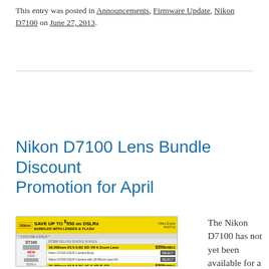This entry was posted in Announcements, Firmware Update, Nikon D7100 on June 27, 2013.
Nikon D7100 Lens Bundle Discount Promotion for April
[Figure (screenshot): Nikon promotional website screenshot showing SAVE UP TO $550 on DSLRs BUNDLED WITH LENSES & FLASH banner, with D7100, D600, D7000 camera options and lens bundle deals]
The Nikon D7100 has not yet been available for a full month, but with the latest promotion you can save up to $350